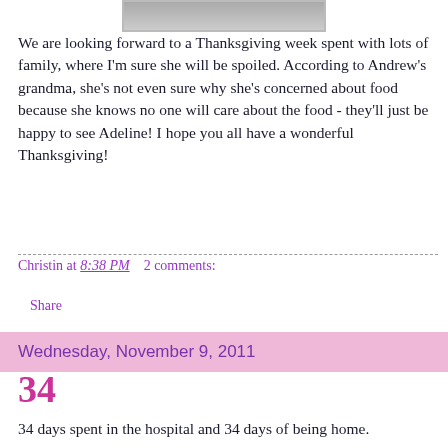[Figure (photo): Partial photo strip at top of page, partially cropped]
We are looking forward to a Thanksgiving week spent with lots of family, where I'm sure she will be spoiled.  According to Andrew's grandma, she's not even sure why she's concerned about food because  she knows no one will care about the food - they'll just be happy to see Adeline!  I hope you all have a wonderful Thanksgiving!
Christin at 8:38 PM    2 comments:
Share
Wednesday, November 9, 2011
34
34 days spent in the hospital and 34 days of being home.
To think that we've been home with Adeline the exact number of days that she spent in the hospital is incredible.  Her hospital stay